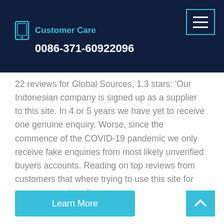Customer Care 0086-371-60922096
22 reviews for Global Sources, 1.3 stars: 'Our Indonesian company is signed up as a supplier to this site. In 4 or 5 years we have yet to receive one genuine enquiry. Worse, since the commence of the COVID-19 pandemic we only receive fake enquiries from most likely unverified buyers accounts. Reading on top reviews from customers that where trying to use this site for genuine enquiries it
Learn More